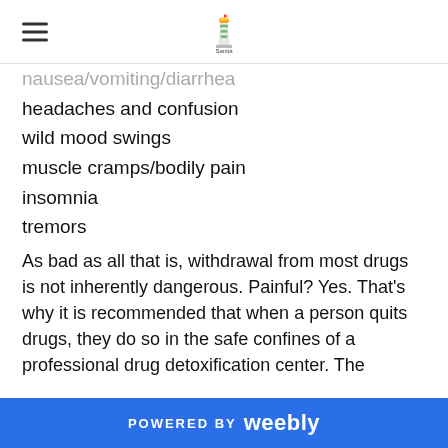[hamburger menu] [Sanita logo]
nausea/vomiting/diarrhea
headaches and confusion
wild mood swings
muscle cramps/bodily pain
insomnia
tremors
As bad as all that is, withdrawal from most drugs is not inherently dangerous. Painful? Yes. That’s why it is recommended that when a person quits drugs, they do so in the safe confines of a professional drug detoxification center. The facility’s staff can help ease the worst withdrawal symptoms.
However, in the case of alcohol or benzodiazepine-class of drugs, it is absolutely crucial that the detox take place under medical supervision. Severe withdrawal symptoms from these two substances can be so severe as to be life-
POWERED BY weebly